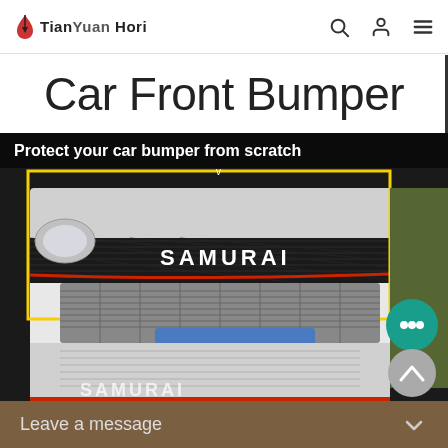TianYuan Hori
Car Front Bumper
[Figure (photo): Product photo of a car front bumper with SAMURAI branding, carbon fiber strip with red accent, yellow rectangle highlighting the bumper protector strip. Text overlay reads 'Protect your car bumper from scratch'.]
Leave a message